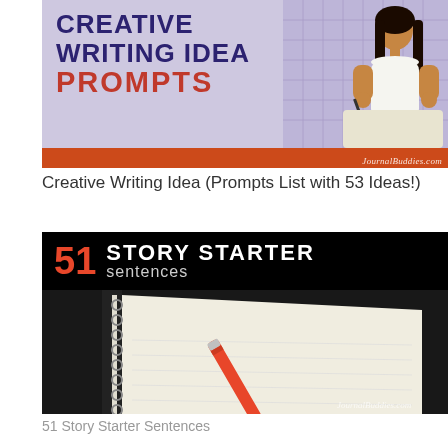[Figure (illustration): Creative Writing Idea Prompts book cover with purple background, bold dark blue text, orange PROMPTS text, illustrated girl writing, orange-red banner at bottom with JournalBuddies.com watermark]
Creative Writing Idea (Prompts List with 53 Ideas!)
[Figure (photo): 51 Story Starter Sentences cover — black banner top with red 51, white bold STORY STARTER text, gray sentences text; lower portion shows a spiral notebook with an orange/red pen on dark background. JournalBuddies.com watermark.]
51 Story Starter Sentences